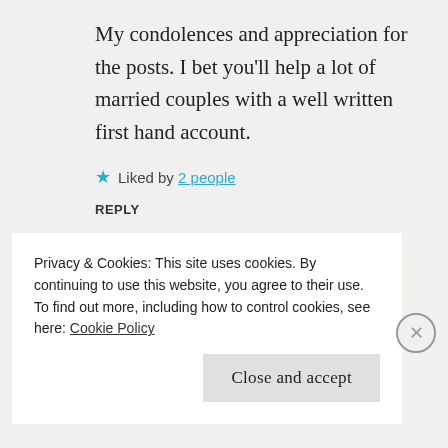My condolences and appreciation for the posts. I bet you'll help a lot of married couples with a well written first hand account.
★ Liked by 2 people
REPLY
Advertisements
[Figure (logo): WordPress advertisement banner: 'Professionally designed sites in less than a week' with WordPress logo]
Privacy & Cookies: This site uses cookies. By continuing to use this website, you agree to their use.
To find out more, including how to control cookies, see here: Cookie Policy
Close and accept